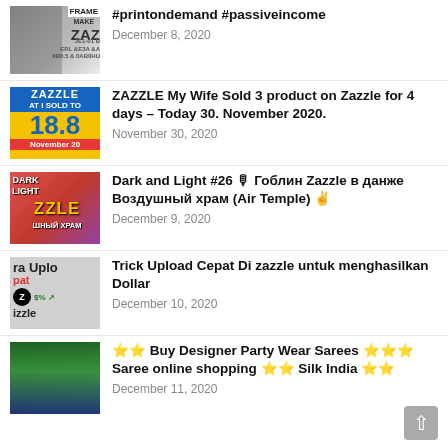#printondemand #passiveincome — December 8, 2020
ZAZZLE My Wife Sold 3 product on Zazzle for 4 days – Today 30. November 2020. — November 30, 2020
Dark and Light #26 🎙 Гоблин Zazzle в данже Воздушный храм (Air Temple) ✌ — December 9, 2020
Trick Upload Cepat Di zazzle untuk menghasilkan Dollar — December 10, 2020
⭐⭐ Buy Designer Party Wear Sarees ⭐⭐⭐ Saree online shopping ⭐⭐ Silk India ⭐⭐ — December 11, 2020